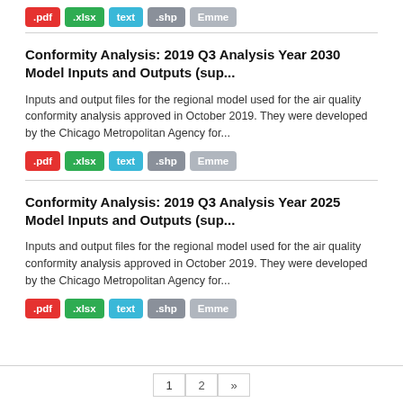.pdf .xlsx text .shp Emme
Conformity Analysis: 2019 Q3 Analysis Year 2030 Model Inputs and Outputs (sup...
Inputs and output files for the regional model used for the air quality conformity analysis approved in October 2019. They were developed by the Chicago Metropolitan Agency for...
.pdf .xlsx text .shp Emme
Conformity Analysis: 2019 Q3 Analysis Year 2025 Model Inputs and Outputs (sup...
Inputs and output files for the regional model used for the air quality conformity analysis approved in October 2019. They were developed by the Chicago Metropolitan Agency for...
.pdf .xlsx text .shp Emme
1  2  »